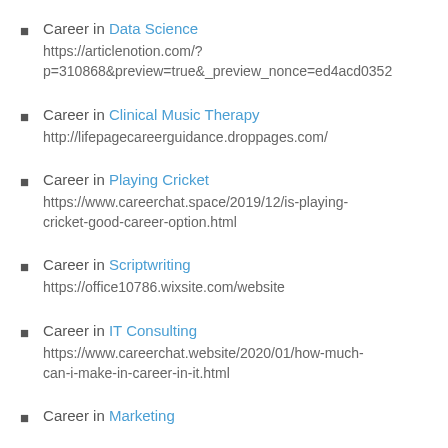Career in Data Science
https://articlenotion.com/?p=310868&preview=true&_preview_nonce=ed4acd0352
Career in Clinical Music Therapy
http://lifepagecareerguidance.droppages.com/
Career in Playing Cricket
https://www.careerchat.space/2019/12/is-playing-cricket-good-career-option.html
Career in Scriptwriting
https://office10786.wixsite.com/website
Career in IT Consulting
https://www.careerchat.website/2020/01/how-much-can-i-make-in-career-in-it.html
Career in Marketing